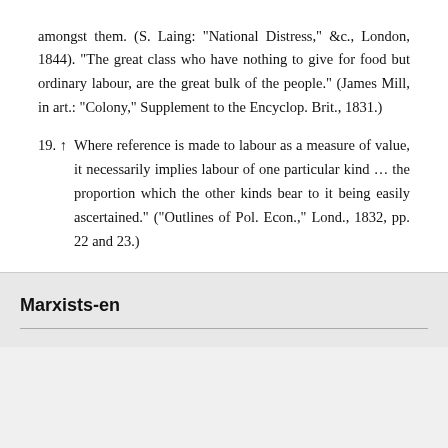amongst them. (S. Laing: "National Distress," &c., London, 1844). "The great class who have nothing to give for food but ordinary labour, are the great bulk of the people." (James Mill, in art.: "Colony," Supplement to the Encyclop. Brit., 1831.)
19. ↑ Where reference is made to labour as a measure of value, it necessarily implies labour of one particular kind … the proportion which the other kinds bear to it being easily ascertained." ("Outlines of Pol. Econ.," Lond., 1832, pp. 22 and 23.)
Marxists-en